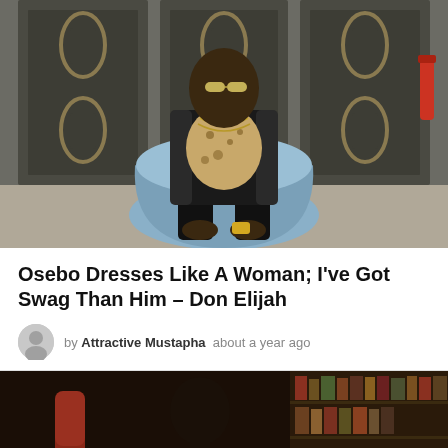[Figure (photo): Man wearing sunglasses, black fur jacket, leopard-print scarf and gold watch, sitting in a round blue chair in front of ornate dark wooden doors]
Osebo Dresses Like A Woman; I've Got Swag Than Him – Don Elijah
by Attractive Mustapha  about a year ago
[Figure (photo): Man sitting in a reddish-brown chair in what appears to be a library or study with bookshelves in the background, partially visible]